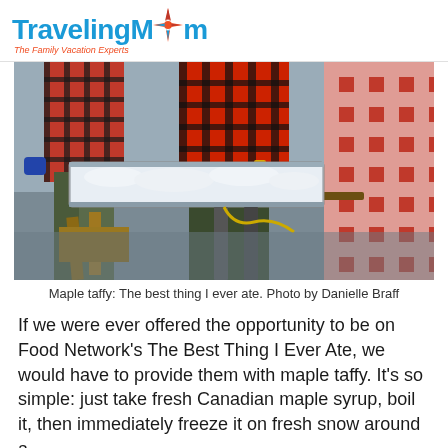TravelingMom — The Family Vacation Experts
[Figure (photo): Outdoor maple taffy demonstration: a long metal trough filled with snow/ice on a wooden stand, with people in red plaid flannel shirts and blue gloves preparing maple taffy. A red and white checkered cloth is visible in the background.]
Maple taffy: The best thing I ever ate. Photo by Danielle Braff
If we were ever offered the opportunity to be on Food Network's The Best Thing I Ever Ate, we would have to provide them with maple taffy. It's so simple: just take fresh Canadian maple syrup, boil it, then immediately freeze it on fresh snow around a